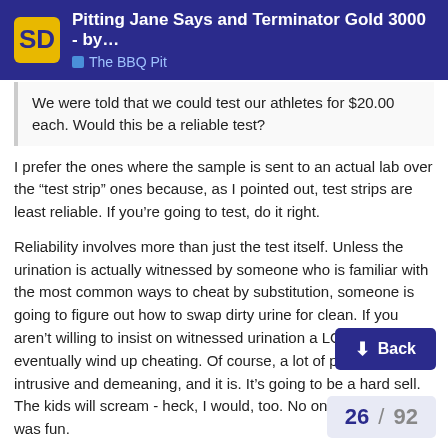Pitting Jane Says and Terminator Gold 3000 - by... | The BBQ Pit
We were told that we could test our athletes for $20.00 each. Would this be a reliable test?
I prefer the ones where the sample is sent to an actual lab over the “test strip” ones because, as I pointed out, test strips are least reliable. If you’re going to test, do it right.
Reliability involves more than just the test itself. Unless the urination is actually witnessed by someone who is familiar with the most common ways to cheat by substitution, someone is going to figure out how to swap dirty urine for clean. If you aren’t willing to insist on witnessed urination a LOT of kids will eventually wind up cheating. Of course, a lot of people find this intrusive and demeaning, and it is. It’s going to be a hard sell. The kids will scream - heck, I would, too. No on[e said] testing was fun.
Is it possible to cheat on a witnessed drug [test? Yes, it is. But I’m not going to tell you how. And I…]